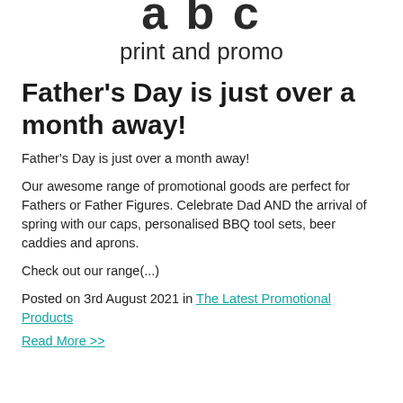[Figure (logo): abc print and promo logo — bold 'abc' letters partially cropped at top, with 'print and promo' subtitle below]
Father's Day is just over a month away!
Father's Day is just over a month away!
Our awesome range of promotional goods are perfect for Fathers or Father Figures. Celebrate Dad AND the arrival of spring with our caps, personalised BBQ tool sets, beer caddies and aprons.
Check out our range(...)
Posted on 3rd August 2021 in The Latest Promotional Products
Read More >>